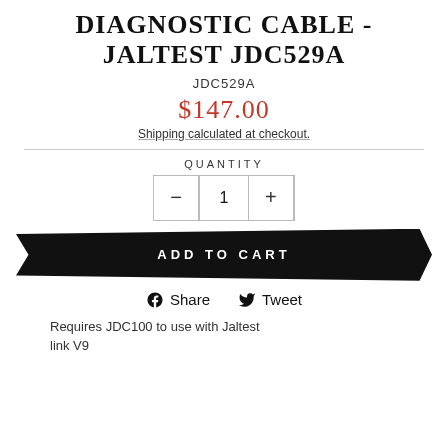DIAGNOSTIC CABLE - JALTEST JDC529A
JDC529A
$147.00
Shipping calculated at checkout.
QUANTITY
- 1 +
ADD TO CART
Share   Tweet
Requires JDC100 to use with Jaltest link V9